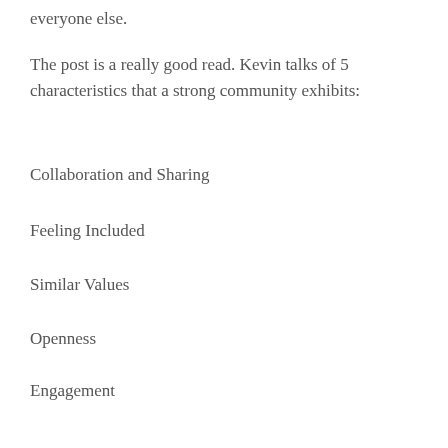everyone else.
The post is a really good read. Kevin talks of 5 characteristics that a strong community exhibits:
Collaboration and Sharing
Feeling Included
Similar Values
Openness
Engagement
There’s little doubt in my mind that the ConnectingHR community exhibits all these…it has  moved from tentative to social to fully collaborative. I know from personal experience how they have pulled together to